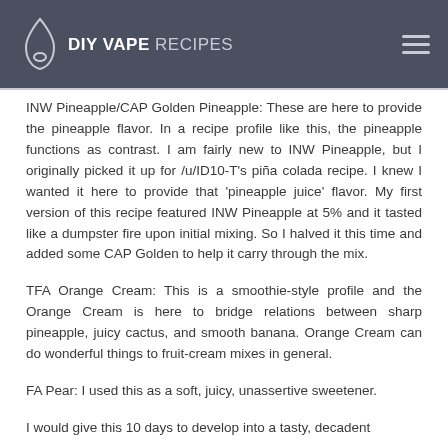DIY VAPE RECIPES
INW Pineapple/CAP Golden Pineapple: These are here to provide the pineapple flavor. In a recipe profile like this, the pineapple functions as contrast. I am fairly new to INW Pineapple, but I originally picked it up for /u/ID10-T's piña colada recipe. I knew I wanted it here to provide that 'pineapple juice' flavor. My first version of this recipe featured INW Pineapple at 5% and it tasted like a dumpster fire upon initial mixing. So I halved it this time and added some CAP Golden to help it carry through the mix.
TFA Orange Cream: This is a smoothie-style profile and the Orange Cream is here to bridge relations between sharp pineapple, juicy cactus, and smooth banana. Orange Cream can do wonderful things to fruit-cream mixes in general.
FA Pear: I used this as a soft, juicy, unassertive sweetener.
I would give this 10 days to develop into a tasty, decadent